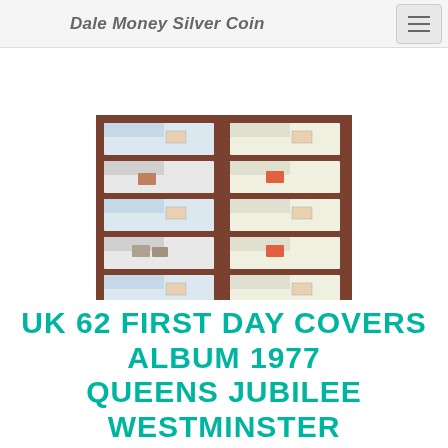Dale Money Silver Coin
[Figure (photo): Album page showing 12 first day covers arranged in two columns of 6 rows, with blue and white envelopes featuring stamps and postmarks, displayed on a brown album background]
UK 62 FIRST DAY COVERS ALBUM 1977 QUEENS JUBILEE WESTMINSTER